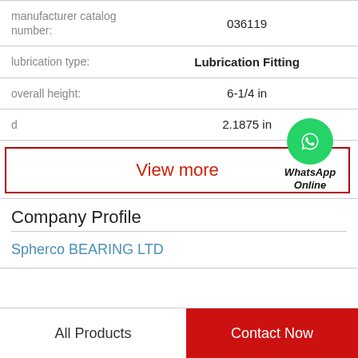| Property | Value |
| --- | --- |
| manufacturer catalog number: | 036119 |
| lubrication type: | Lubrication Fitting |
| overall height: | 6-1/4 in |
| d | 2.1875 in |
[Figure (logo): WhatsApp green circle icon with phone handset]
View more
WhatsApp Online
Company Profile
Spherco BEARING LTD
All Products   Contact Now